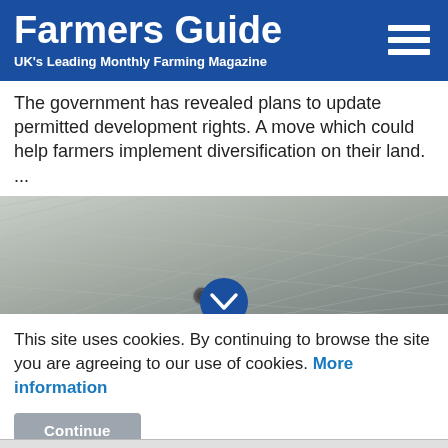Farmers Guide — UK's Leading Monthly Farming Magazine
The government has revealed plans to update permitted development rights. A move which could help farmers implement diversification on their land. ...
[Figure (photo): Close-up photo of grey fabric or textile material with a small metallic button/screw visible, and a blue circular chevron/down-arrow button overlay in the bottom center]
This site uses cookies. By continuing to browse the site you are agreeing to our use of cookies. More information
Continue